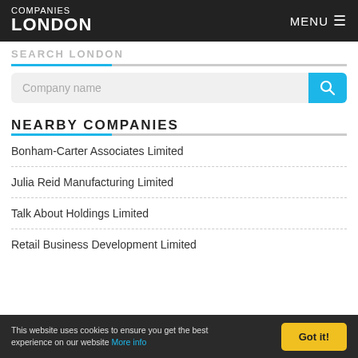COMPANIES LONDON
SEARCH LONDON
Company name
NEARBY COMPANIES
Bonham-Carter Associates Limited
Julia Reid Manufacturing Limited
Talk About Holdings Limited
Retail Business Development Limited
This website uses cookies to ensure you get the best experience on our website More info  Got it!